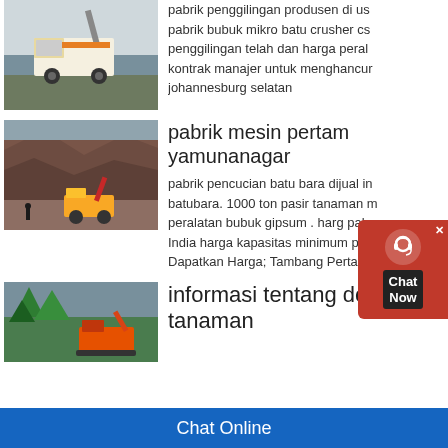[Figure (photo): Mining truck / crusher machine on a construction site]
pabrik penggilingan produsen di usa pabrik bubuk mikro batu crusher cs penggilingan telah dan harga perala kontrak manajer untuk menghancur johannesburg selatan
[Figure (photo): Quarry mining site with heavy machinery and rocky terrain]
pabrik mesin pertam yamunanagar
pabrik pencucian batu bara dijual in batubara. 1000 ton pasir tanaman m peralatan bubuk gipsum . harg pabr India harga kapasitas minimum pab Dapatkan Harga; Tambang Pertamb
[Figure (photo): Orange excavator in forested mountain area]
informasi tentang delima tanaman
Chat Online